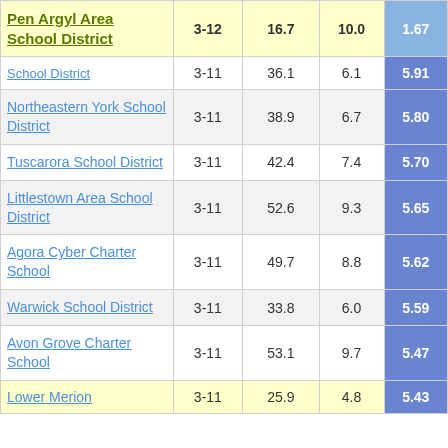| School District | Grades | % | # | Score |
| --- | --- | --- | --- | --- |
| Pen Argyl Area School District | 3-12 | 16.7 | 10.0 | 1.67 |
| School District | 3-11 | 36.1 | 6.1 | 5.91 |
| Northeastern York School District | 3-11 | 38.9 | 6.7 | 5.80 |
| Tuscarora School District | 3-11 | 42.4 | 7.4 | 5.70 |
| Littlestown Area School District | 3-11 | 52.6 | 9.3 | 5.65 |
| Agora Cyber Charter School | 3-11 | 49.7 | 8.8 | 5.62 |
| Warwick School District | 3-11 | 33.8 | 6.0 | 5.59 |
| Avon Grove Charter School | 3-11 | 53.1 | 9.7 | 5.47 |
| Lower Merion | 3-11 | 25.9 | 4.8 | 5.43 |